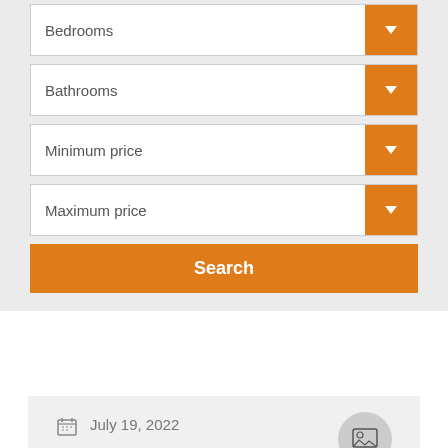[Figure (screenshot): Dropdown filter fields for Bedrooms, Bathrooms, Minimum price, Maximum price with orange arrow buttons, and an orange Search button]
July 19, 2022
Buying property, Property finance
No Comments